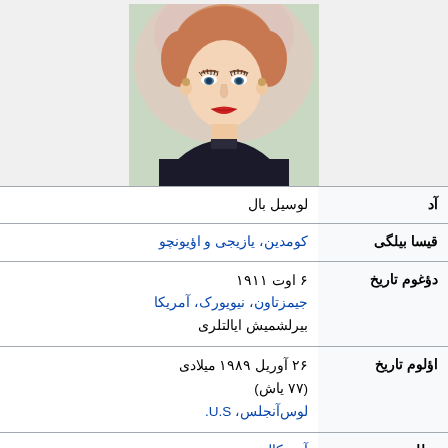[Figure (photo): Portrait illustration of Lucille Ball, a woman with styled blonde/red hair wearing a dark top, painted portrait style]
| لیبل | مقدار |
| --- | --- |
| آد | لوسیل بال |
| قیسا بیلگی | کومدین، یازیجی و اؤیونچو |
| دؤغوم تاریخ | ۶ اوت ۱۹۱۱
جیمزتاون، نیویورک، آمریکا
بیرلشمیش ایالتلری |
| اؤلوم تاریخ | ۲۶ آوریل ۱۹۸۹ میلادی
(۷۷ یاش)
لوس‌آنجلس، U.S. |
| میللیت | آمریکالی |
| اؤشاقلاری | Lucie Arnaz |